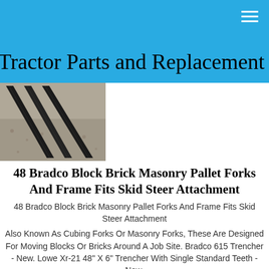Tractor Parts and Replacement
[Figure (photo): Photo of black metal pallet fork tines lying on a sandy/gravel surface]
48 Bradco Block Brick Masonry Pallet Forks And Frame Fits Skid Steer Attachment
48 Bradco Block Brick Masonry Pallet Forks And Frame Fits Skid Steer Attachment
Also Known As Cubing Forks Or Masonry Forks, These Are Designed For Moving Blocks Or Bricks Around A Job Site. Bradco 615 Trencher - New. Lowe Xr-21 48" X 6" Trencher With Single Standard Teeth - New.